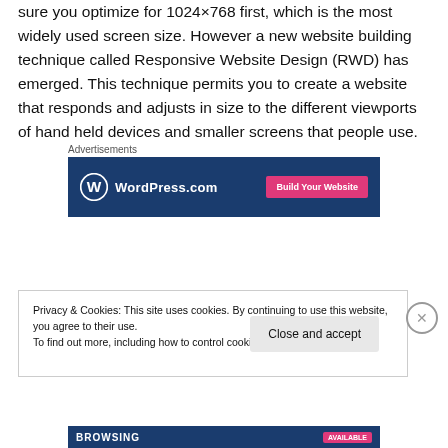sure you optimize for 1024x768 first, which is the most widely used screen size. However a new website building technique called Responsive Website Design (RWD) has emerged. This technique permits you to create a website that responds and adjusts in size to the different viewports of hand held devices and smaller screens that people use.
[Figure (other): WordPress.com advertisement banner with blue background, WordPress logo and 'Build Your Website' pink button]
Privacy & Cookies: This site uses cookies. By continuing to use this website, you agree to their use.
To find out more, including how to control cookies, see here: Cookie Policy
Close and accept